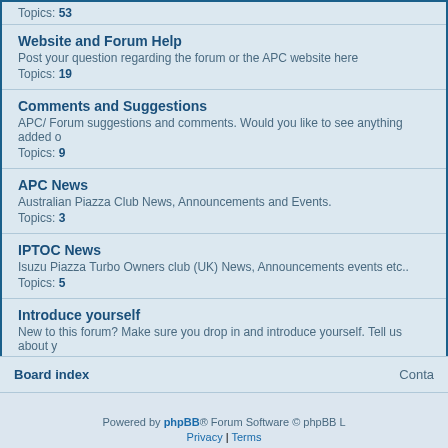Topics: 53
Website and Forum Help
Post your question regarding the forum or the APC website here
Topics: 19
Comments and Suggestions
APC/ Forum suggestions and comments. Would you like to see anything added o...
Topics: 9
APC News
Australian Piazza Club News, Announcements and Events.
Topics: 3
IPTOC News
Isuzu Piazza Turbo Owners club (UK) News, Announcements events etc..
Topics: 5
Introduce yourself
New to this forum? Make sure you drop in and introduce yourself. Tell us about y...
Topics: 119
Board index | Contact
Powered by phpBB® Forum Software © phpBB L
Privacy | Terms